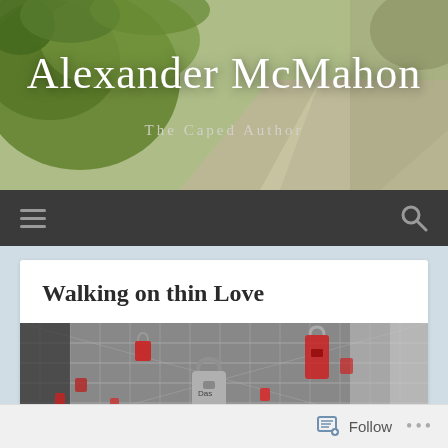[Figure (photo): Header banner photo of a park path with green grass on left and concrete walkway in background, slightly blurred/bokeh]
Alexander McMahon
The Caped Author
[Figure (screenshot): Dark navigation bar with hamburger menu icon on left and search (magnifying glass) icon on right]
Walking on thin Love
[Figure (photo): Photo of a chain-link fence covered with red and silver padlocks (love locks), slightly blurred background]
Follow